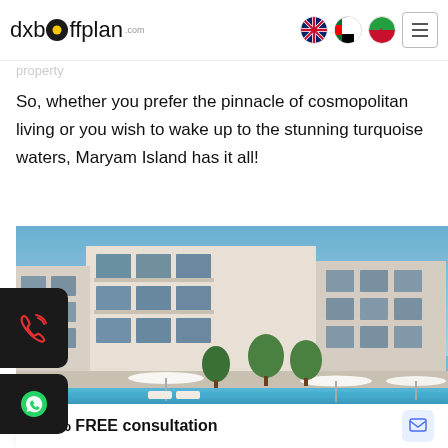dxboffplan.com
So, whether you prefer the pinnacle of cosmopolitan living or you wish to wake up to the stunning turquoise waters, Maryam Island has it all!
[Figure (photo): Exterior view of a modern residential apartment complex with balconies, trees, and a pool area in the foreground]
100% FREE consultation